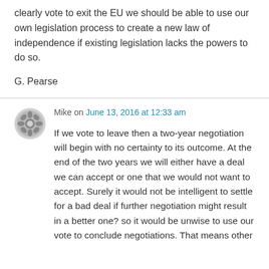clearly vote to exit the EU we should be able to use our own legislation process to create a new law of independence if existing legislation lacks the powers to do so.
G. Pearse
Mike on June 13, 2016 at 12:33 am
If we vote to leave then a two-year negotiation will begin with no certainty to its outcome. At the end of the two years we will either have a deal we can accept or one that we would not want to accept. Surely it would not be intelligent to settle for a bad deal if further negotiation might result in a better one? so it would be unwise to use our vote to conclude negotiations. That means other